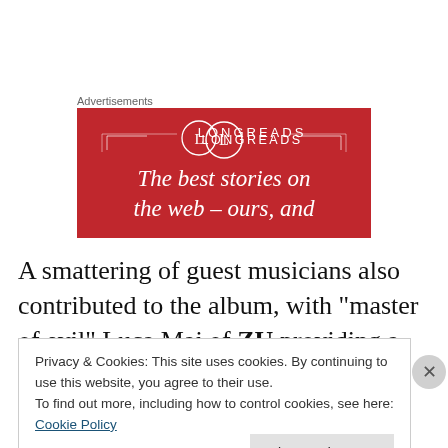Advertisements
[Figure (illustration): Longreads advertisement banner on red background with logo circle containing 'L', text 'LONGREADS', and tagline 'The best stories on the web – ours, and']
A smattering of guest musicians also contributed to the album, with “master of evil” Luca Mai of ZU providing a
Privacy & Cookies: This site uses cookies. By continuing to use this website, you agree to their use.
To find out more, including how to control cookies, see here: Cookie Policy
Close and accept